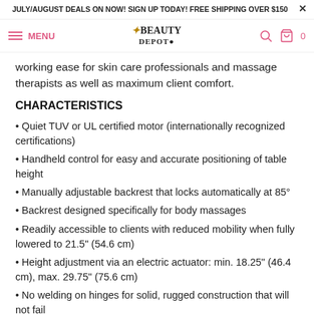JULY/AUGUST DEALS ON NOW! SIGN UP TODAY! FREE SHIPPING OVER $150
MENU | THE BEAUTY DEPOT | Search | Cart 0
working ease for skin care professionals and massage therapists as well as maximum client comfort.
CHARACTERISTICS
• Quiet TUV or UL certified motor (internationally recognized certifications)
• Handheld control for easy and accurate positioning of table height
• Manually adjustable backrest that locks automatically at 85°
• Backrest designed specifically for body massages
• Readily accessible to clients with reduced mobility when fully lowered to 21.5" (54.6 cm)
• Height adjustment via an electric actuator: min. 18.25" (46.4 cm), max. 29.75" (75.6 cm)
• No welding on hinges for solid, rugged construction that will not fail